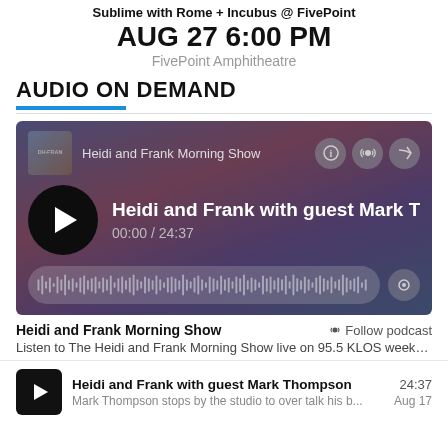Sublime with Rome + Incubus @ FivePoint
AUG 27 6:00 PM
FivePoint Amphitheatre
AUDIO ON DEMAND
[Figure (screenshot): Audio player widget showing Heidi and Frank Morning Show podcast with episode 'Heidi and Frank with guest Mark Tho' at 00:00 / 24:37 with waveform progress bar]
Heidi and Frank Morning Show — Follow podcast
Listen to The Heidi and Frank Morning Show live on 95.5 KLOS weekda...
Heidi and Frank with guest Mark Thompson  24:37
Mark Thompson stops by the studio to over talk his b...  Aug 17